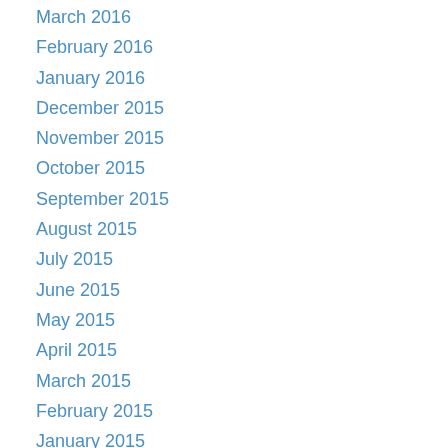March 2016
February 2016
January 2016
December 2015
November 2015
October 2015
September 2015
August 2015
July 2015
June 2015
May 2015
April 2015
March 2015
February 2015
January 2015
December 2014
November 2014
October 2014
September 2014
August 2014